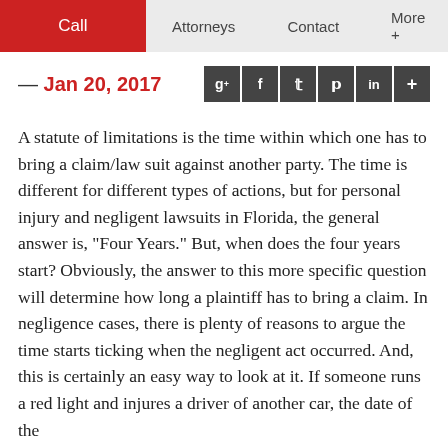Call  Attorneys  Contact  More +
— Jan 20, 2017
A statute of limitations is the time within which one has to bring a claim/law suit against another party. The time is different for different types of actions, but for personal injury and negligent lawsuits in Florida, the general answer is, "Four Years." But, when does the four years start? Obviously, the answer to this more specific question will determine how long a plaintiff has to bring a claim. In negligence cases, there is plenty of reasons to argue the time starts ticking when the negligent act occurred. And, this is certainly an easy way to look at it. If someone runs a red light and injures a driver of another car, the date of the